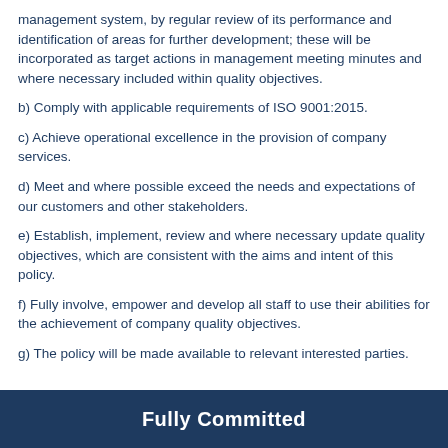management system, by regular review of its performance and identification of areas for further development; these will be incorporated as target actions in management meeting minutes and where necessary included within quality objectives.
b) Comply with applicable requirements of ISO 9001:2015.
c) Achieve operational excellence in the provision of company services.
d) Meet and where possible exceed the needs and expectations of our customers and other stakeholders.
e) Establish, implement, review and where necessary update quality objectives, which are consistent with the aims and intent of this policy.
f) Fully involve, empower and develop all staff to use their abilities for the achievement of company quality objectives.
g) The policy will be made available to relevant interested parties.
Fully Committed